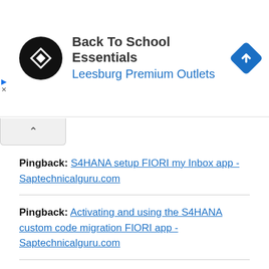[Figure (screenshot): Advertisement banner: Back To School Essentials, Leesburg Premium Outlets, with circular logo and navigation diamond icon]
Pingback: S4HANA setup FIORI my Inbox app - Saptechnicalguru.com
Pingback: Activating and using the S4HANA custom code migration FIORI app - Saptechnicalguru.com
Pingback: S4HANA rapid activation of FIORI lighthouse apps - Saptechnicalguru.com